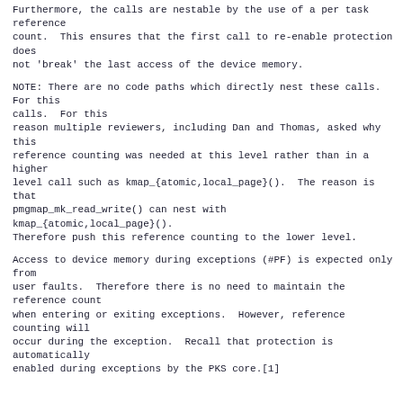Furthermore, the calls are nestable by the use of a per task reference
count.  This ensures that the first call to re-enable protection does
not 'break' the last access of the device memory.
NOTE: There are no code paths which directly nest these calls.  For this
reason multiple reviewers, including Dan and Thomas, asked why this
reference counting was needed at this level rather than in a higher
level call such as kmap_{atomic,local_page}().  The reason is that
pmgmap_mk_read_write() can nest with kmap_{atomic,local_page}().
Therefore push this reference counting to the lower level.
Access to device memory during exceptions (#PF) is expected only from
user faults.  Therefore there is no need to maintain the reference count
when entering or exiting exceptions.  However, reference counting will
occur during the exception.  Recall that protection is automatically
enabled during exceptions by the PKS core.[1]